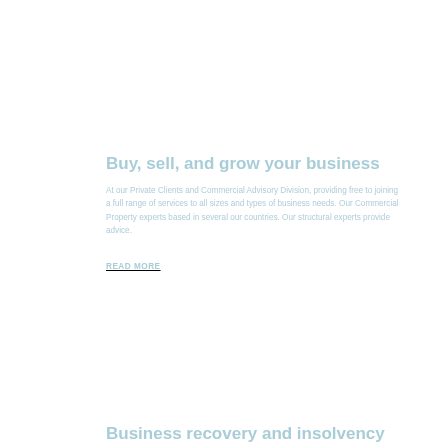Buy, sell, and grow your business
At our Private Clients and Commercial Advisory Division, providing free to joining a full range of services to all sizes and types of business needs. Our Commercial Property experts based in several our countries. Our structural experts provide advice.
READ MORE
Business recovery and insolvency